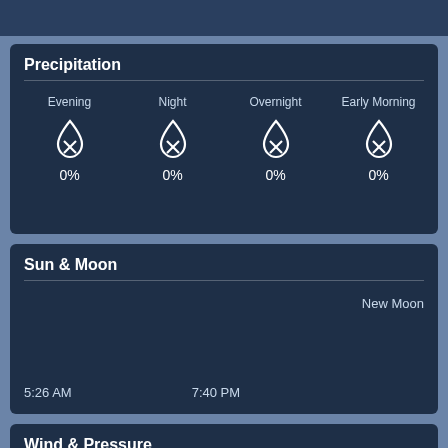Precipitation
| Evening | Night | Overnight | Early Morning |
| --- | --- | --- | --- |
| 0% | 0% | 0% | 0% |
Sun & Moon
New Moon
5:26 AM
7:40 PM
Wind & Pressure